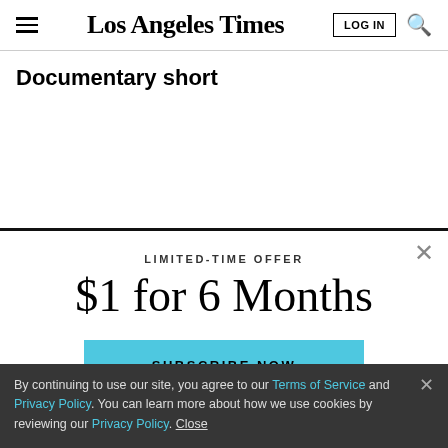Los Angeles Times
Documentary short
LIMITED-TIME OFFER
$1 for 6 Months
SUBSCRIBE NOW
By continuing to use our site, you agree to our Terms of Service and Privacy Policy. You can learn more about how we use cookies by reviewing our Privacy Policy. Close